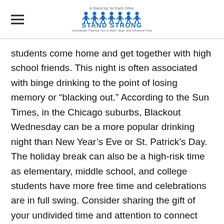Stand Strong logo header
students come home and get together with high school friends. This night is often associated with binge drinking to the point of losing memory or “blacking out.” According to the Sun Times, in the Chicago suburbs, Blackout Wednesday can be a more popular drinking night than New Year’s Eve or St. Patrick’s Day. The holiday break can also be a high-risk time as elementary, middle school, and college students have more free time and celebrations are in full swing. Consider sharing the gift of your undivided time and attention to connect with your teens.
Remember, it is illegal to host a party for those under 21 years of age regardless of whether you purchased the